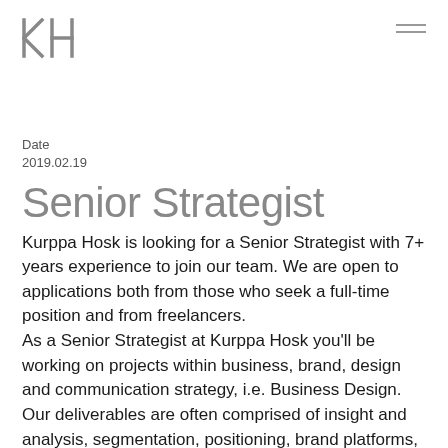KH [logo] [menu icon]
Date
2019.02.19
Senior Strategist
Kurppa Hosk is looking for a Senior Strategist with 7+ years experience to join our team. We are open to applications both from those who seek a full-time position and from freelancers.
As a Senior Strategist at Kurppa Hosk you'll be working on projects within business, brand, design and communication strategy, i.e. Business Design. Our deliverables are often comprised of insight and analysis, segmentation, positioning, brand platforms, brand architecture and portfolio structures.